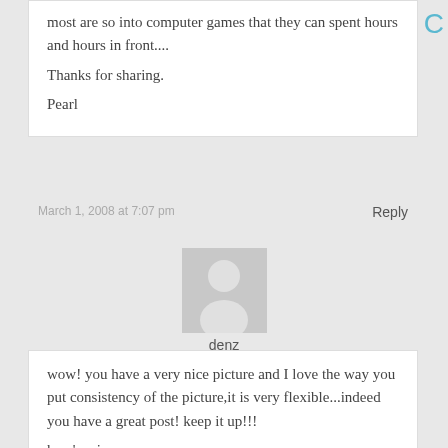most are so into computer games that they can spent hours and hours in front....
Thanks for sharing.
Pearl
March 1, 2008 at 7:07 pm
Reply
[Figure (illustration): Generic user avatar placeholder image - grey silhouette of a person on grey background]
denz
wow! you have a very nice picture and I love the way you put consistency of the picture,it is very flexible...indeed you have a great post! keep it up!!!
here's mine:
Photohunt-1...